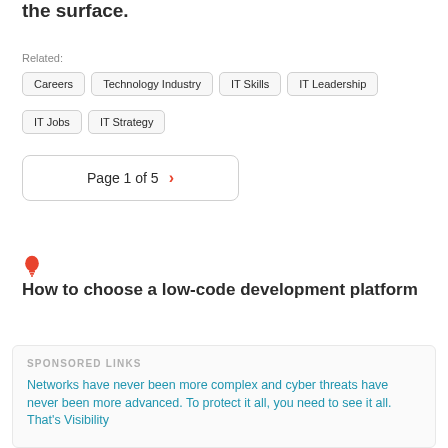the surface.
Related:
Careers
Technology Industry
IT Skills
IT Leadership
IT Jobs
IT Strategy
Page 1 of 5 ›
How to choose a low-code development platform
SPONSORED LINKS
Networks have never been more complex and cyber threats have never been more advanced. To protect it all, you need to see it all. That's Visibility